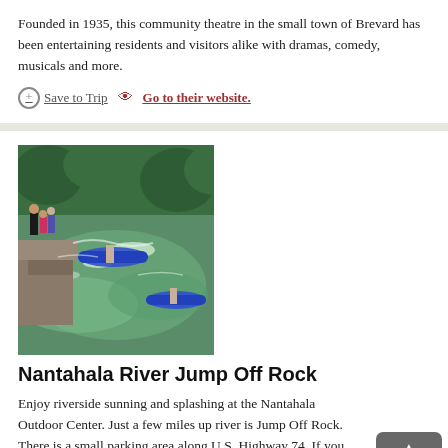Founded in 1935, this community theatre in the small town of Brevard has been entertaining residents and visitors alike with dramas, comedy, musicals and more.
Save to Trip
Go to their website.
[Figure (photo): People river rafting and kayaking on the Nantahala River with green trees in background]
Nantahala River Jump Off Rock
Enjoy riverside sunning and splashing at the Nantahala Outdoor Center. Just a few miles up river is Jump Off Rock. There is a small parking area along U.S. Highway 74. If you are rafting, you can park your raft, climb and jump!
Save to Trip
Read & see more!